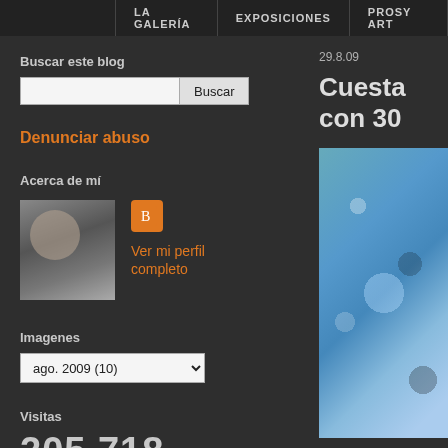LA GALERÍA | EXPOSICIONES | PROSY ART
Buscar este blog
Denunciar abuso
Acerca de mí
[Figure (photo): Profile photo of a man with glasses in white shirt]
Ver mi perfil completo
Imagenes
ago. 2009 (10)
Visitas
205,718
29.8.09
Cuesta con 30
[Figure (photo): Mosaic or tile art in blue tones]